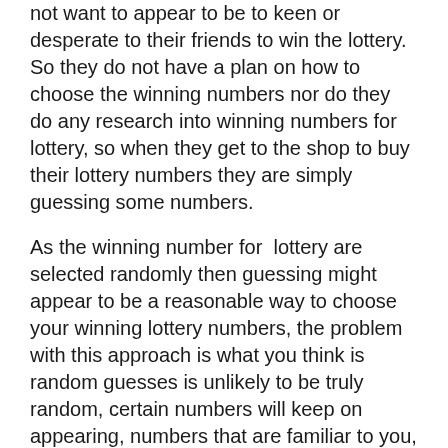not want to appear to be to keen or desperate to their friends to win the lottery. So they do not have a plan on how to choose the winning numbers nor do they do any research into winning numbers for lottery, so when they get to the shop to buy their lottery numbers they are simply guessing some numbers.
As the winning number for [link] lottery are selected randomly then guessing might appear to be a reasonable way to choose your winning lottery numbers, the problem with this approach is what you think is random guesses is unlikely to be truly random, certain numbers will keep on appearing, numbers that are familiar to you, birth days is a typical example others are